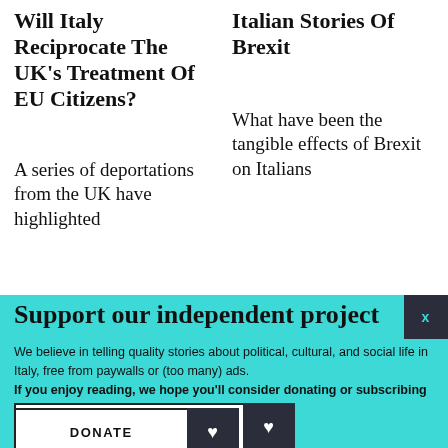Will Italy Reciprocate The UK's Treatment Of EU Citizens?
Italian Stories Of Brexit
A series of deportations from the UK have highlighted
What have been the tangible effects of Brexit on Italians
Support our independent project
We believe in telling quality stories about political, cultural, and social life in Italy, free from paywalls or (too many) ads. If you enjoy reading, we hope you'll consider donating or subscribing to our Patreon community. Thank you.
BECOME A PATRON
DONATE
Follow us: Facebook Instagram Twitter